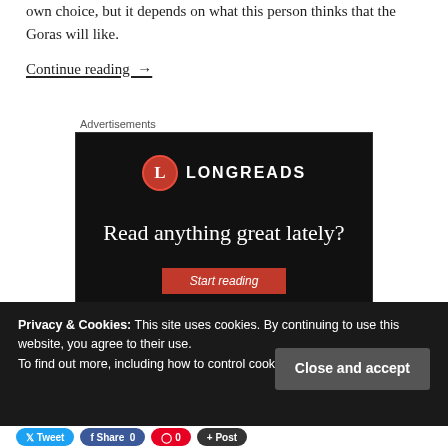own choice, but it depends on what this person thinks that the Goras will like.
Continue reading →
Advertisements
[Figure (illustration): Longreads advertisement banner on black background. Shows Longreads logo (red circle with L) and text 'Read anything great lately?' with a red 'Start reading' button.]
Privacy & Cookies: This site uses cookies. By continuing to use this website, you agree to their use.
To find out more, including how to control cookies, see here: Cookie Policy
Close and accept